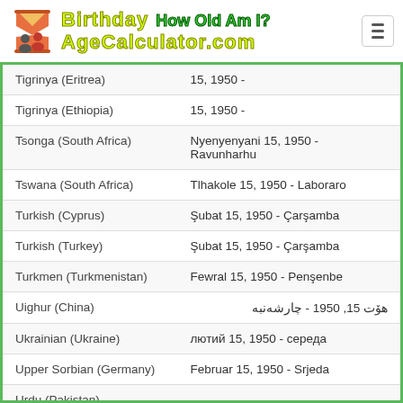Birthday AgeCalculator.com How Old Am I?
| Language | Date |
| --- | --- |
| Tigrinya (Eritrea) | 15, 1950 - |
| Tigrinya (Ethiopia) | 15, 1950 - |
| Tsonga (South Africa) | Nyenyenyani 15, 1950 - Ravunharhu |
| Tswana (South Africa) | Tlhakole 15, 1950 - Laboraro |
| Turkish (Cyprus) | Şubat 15, 1950 - Çarşamba |
| Turkish (Turkey) | Şubat 15, 1950 - Çarşamba |
| Turkmen (Turkmenistan) | Fewral 15, 1950 - Penşenbe |
| Uighur (China) | هۆت 15, 1950 - چارشەنبە |
| Ukrainian (Ukraine) | лютий 15, 1950 - середа |
| Upper Sorbian (Germany) | Februar 15, 1950 - Srjeda |
| Urdu (Pakistan) |  |